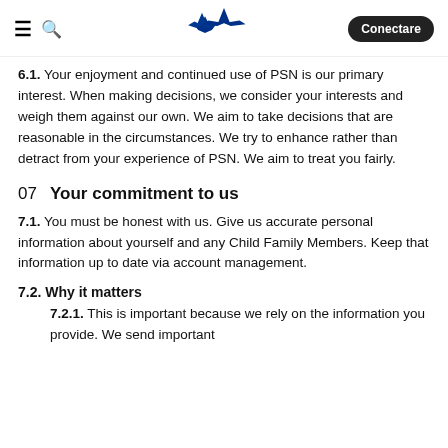PlayStation Network — Conectare
6.1. Your enjoyment and continued use of PSN is our primary interest. When making decisions, we consider your interests and weigh them against our own. We aim to take decisions that are reasonable in the circumstances. We try to enhance rather than detract from your experience of PSN. We aim to treat you fairly.
07 Your commitment to us
7.1. You must be honest with us. Give us accurate personal information about yourself and any Child Family Members. Keep that information up to date via account management.
7.2. Why it matters
7.2.1. This is important because we rely on the information you provide. We send important information to the email address you give us. We